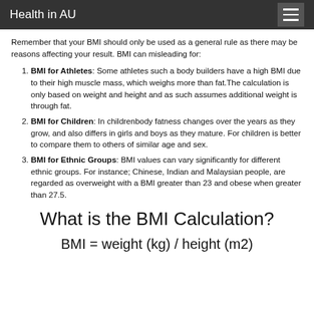Health in AU
Remember that your BMI should only be used as a general rule as there may be reasons affecting your result. BMI can misleading for:
BMI for Athletes: Some athletes such a body builders have a high BMI due to their high muscle mass, which weighs more than fat.The calculation is only based on weight and height and as such assumes additional weight is through fat.
BMI for Children: In childrenbody fatness changes over the years as they grow, and also differs in girls and boys as they mature. For children is better to compare them to others of similar age and sex.
BMI for Ethnic Groups: BMI values can vary significantly for different ethnic groups. For instance; Chinese, Indian and Malaysian people, are regarded as overweight with a BMI greater than 23 and obese when greater than 27.5.
What is the BMI Calculation?